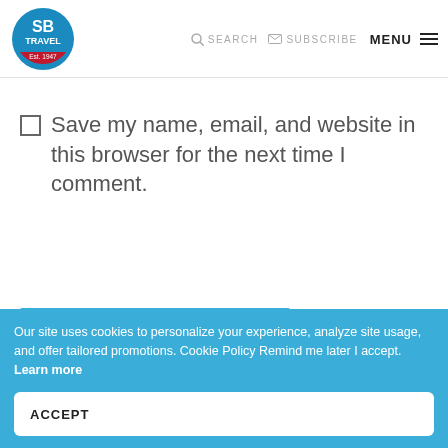SB TRAVEL Est. 1947 | SEARCH | SUBSCRIBE | MENU
☐ Save my name, email, and website in this browser for the next time I comment.
Submit Comment
Our site uses cookies to personalize your experience, analyze site usage, and offer tailored promotions. Cookie Policy Remind me later I accept. Learn more
ACCEPT